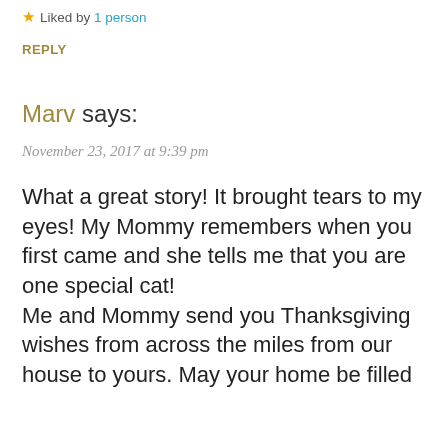★ Liked by 1 person
REPLY
Marv says:
November 23, 2017 at 9:39 pm
What a great story! It brought tears to my eyes! My Mommy remembers when you first came and she tells me that you are one special cat!
Me and Mommy send you Thanksgiving wishes from across the miles from our house to yours. May your home be filled